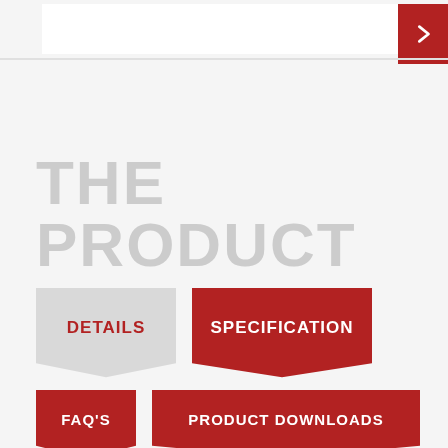[Figure (screenshot): Top navigation bar with white search input box and red arrow button on the right]
THE PRODUCT
DETAILS
SPECIFICATION
FAQ'S
PRODUCT DOWNLOADS